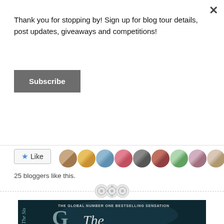Thank you for stopping by! Sign up for blog tour details, post updates, giveaways and competitions!
Subscribe
Like
25 bloggers like this.
[Figure (screenshot): Book cover showing 'THE GLOBAL NUMBER ONE BESTSELLING SENSATION' with title text 'The Sis...' on dark teal/black background]